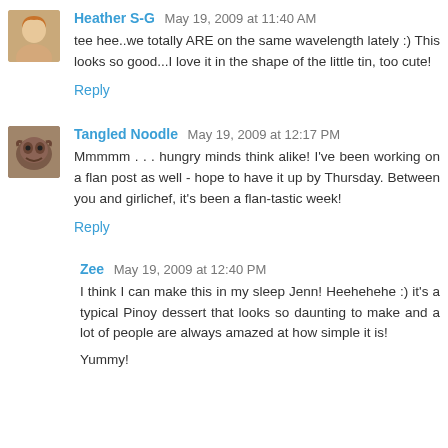Heather S-G May 19, 2009 at 11:40 AM
tee hee..we totally ARE on the same wavelength lately :) This looks so good...I love it in the shape of the little tin, too cute!
Reply
Tangled Noodle May 19, 2009 at 12:17 PM
Mmmmm . . . hungry minds think alike! I've been working on a flan post as well - hope to have it up by Thursday. Between you and girlichef, it's been a flan-tastic week!
Reply
Zee May 19, 2009 at 12:40 PM
I think I can make this in my sleep Jenn! Heehehehe :) it's a typical Pinoy dessert that looks so daunting to make and a lot of people are always amazed at how simple it is!
Yummy!